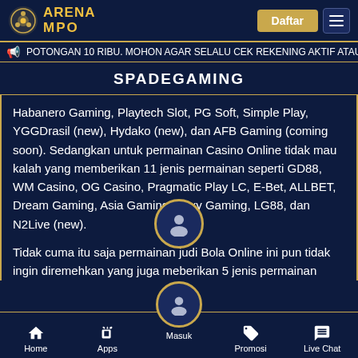ARENA MPO
POTONGAN 10 RIBU. MOHON AGAR SELALU CEK REKENING AKTIF ATAU KON
SPADEGAMING
Habanero Gaming, Playtech Slot, PG Soft, Simple Play, YGGDrasil (new), Hydako (new), dan AFB Gaming (coming soon). Sedangkan untuk permainan Casino Online tidak mau kalah yang memberikan 11 jenis permainan seperti GD88, WM Casino, OG Casino, Pragmatic Play LC, E-Bet, ALLBET, Dream Gaming, Asia Gaming, Sexy Gaming, LG88, dan N2Live (new).
Tidak cuma itu saja permainan judi Bola Online ini pun tidak ingin diremehkan yang juga meberikan 5 jenis permainan terbaik dan sporter seperti AFB88, IA E-Sporte, SBOBET, SBET dan CMD360
Home | Apps | Masuk | Promosi | Live Chat